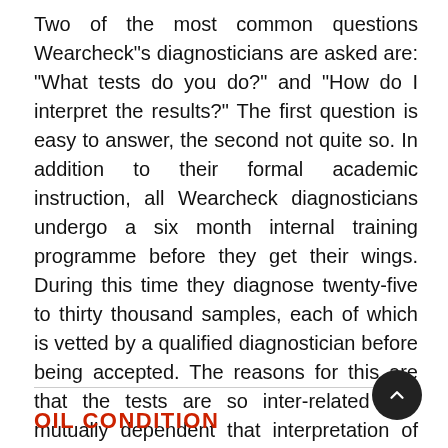Two of the most common questions Wearcheck"s diagnosticians are asked are: "What tests do you do?" and "How do I interpret the results?" The first question is easy to answer, the second not quite so. In addition to their formal academic instruction, all Wearcheck diagnosticians undergo a six month internal training programme before they get their wings. During this time they diagnose twenty-five to thirty thousand samples, each of which is vetted by a qualified diagnostician before being accepted. The reasons for this are that the tests are so inter-related and mutually dependent that interpretation of the results is not always straightforward. Knowing this it is easy to appreciate the impossibility of putting the whole process of diagnosis into a few lines.
Read More
OIL CONDITION